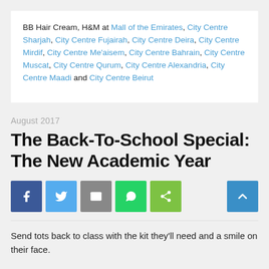BB Hair Cream, H&M at Mall of the Emirates, City Centre Sharjah, City Centre Fujairah, City Centre Deira, City Centre Mirdif, City Centre Me'aisem, City Centre Bahrain, City Centre Muscat, City Centre Qurum, City Centre Alexandria, City Centre Maadi and City Centre Beirut
August 2017
The Back-To-School Special: The New Academic Year
[Figure (infographic): Social sharing buttons: Facebook (blue), Twitter (light blue), Email (grey), WhatsApp (green), Share (lime green), and a Back-to-top button (blue with up arrow chevron)]
Send tots back to class with the kit they'll need and a smile on their face.